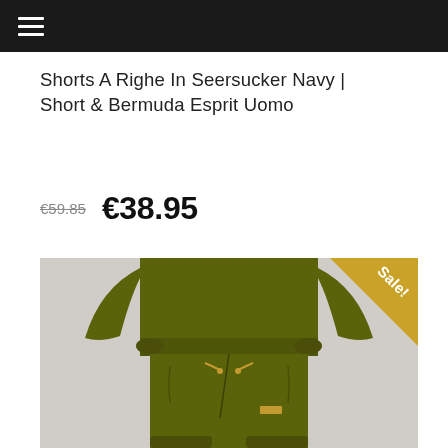≡ (navigation menu)
Shorts A Righe In Seersucker Navy | Short & Bermuda Esprit Uomo
€59.85  €38.95
[Figure (photo): Person wearing an olive green tracksuit (long-sleeve top and drawstring jogger pants), cropped at torso and legs, on a light grey background. A gold 'Sale!' badge is visible in the top-right corner of the image.]